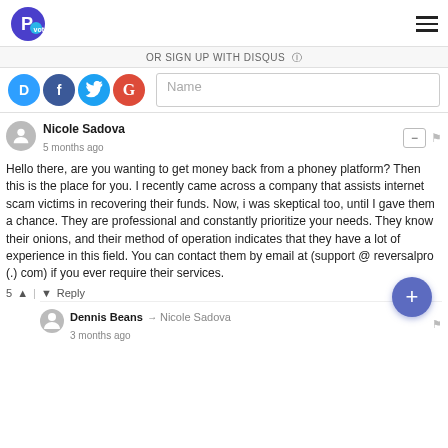Pvot logo and hamburger menu
OR SIGN UP WITH DISQUS
[Figure (logo): Social login icons: Disqus (blue D), Facebook (dark blue f), Twitter (light blue bird), Google (red G) and a Name input field]
Nicole Sadova
5 months ago
Hello there, are you wanting to get money back from a phoney platform? Then this is the place for you. I recently came across a company that assists internet scam victims in recovering their funds. Now, i was skeptical too, until I gave them a chance. They are professional and constantly prioritize your needs. They know their onions, and their method of operation indicates that they have a lot of experience in this field. You can contact them by email at (support @ reversalpro (.) com) if you ever require their services.
5  |  Reply
Dennis Beans → Nicole Sadova
3 months ago